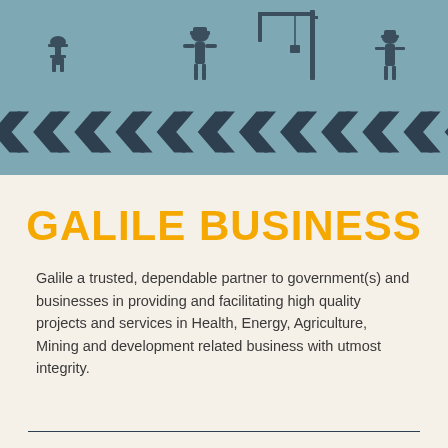[Figure (illustration): Teal/blue-grey header banner with construction/industry silhouette icons at top and a row of dark navy chevron/arrow shapes across the lower portion of the banner.]
GALILE BUSINESS
Galile a trusted, dependable partner to government(s) and businesses in providing and facilitating high quality projects and services in Health, Energy, Agriculture, Mining and development related business with utmost integrity.